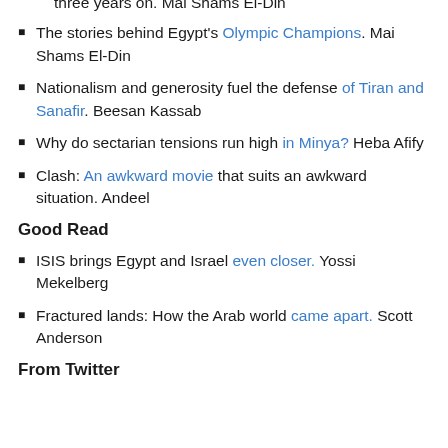The stories behind Egypt's Olympic Champions. Mai Shams El-Din
Nationalism and generosity fuel the defense of Tiran and Sanafir. Beesan Kassab
Why do sectarian tensions run high in Minya? Heba Afify
Clash: An awkward movie that suits an awkward situation. Andeel
Good Read
ISIS brings Egypt and Israel even closer. Yossi Mekelberg
Fractured lands: How the Arab world came apart. Scott Anderson
From Twitter